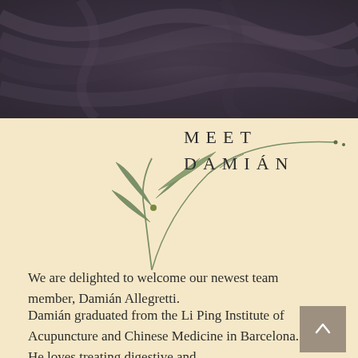[Figure (photo): Dark grey textured fabric or draped material photograph at top of page]
[Figure (illustration): Decorative botanical illustration of a grass or bamboo plant with an arching thin stem forming a partial circle, in muted sage green]
MEET DAMIÁN
We are delighted to welcome our newest team member, Damián Allegretti.
Damián graduated from the Li Ping Institute of Acupuncture and Chinese Medicine in Barcelona.
He loves treating digestive and